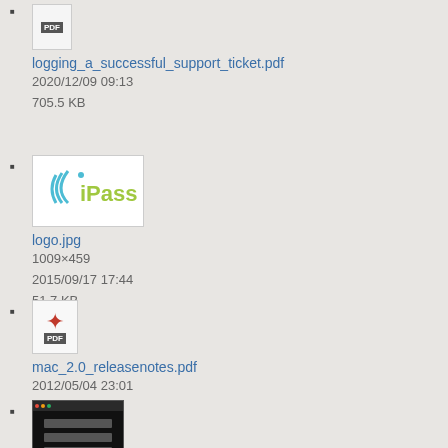logging_a_successful_support_ticket.pdf
2020/12/09 09:13
705.5 KB
logo.jpg
1009×459
2015/09/17 17:44
51.7 KB
mac_2.0_releasenotes.pdf
2012/05/04 23:01
90.5 KB
(screenshot thumbnail)